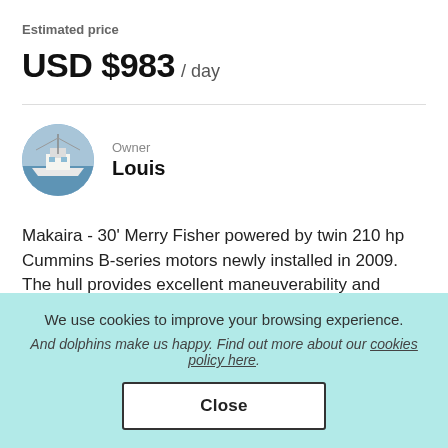Estimated price
USD $983 / day
Owner
Louis
Makaira - 30' Merry Fisher powered by twin 210 hp Cummins B-series motors newly installed in 2009. The hull provides excellent maneuverability and combines a spacious 9m2 cockpit, HD chair, Lee riggers and
We use cookies to improve your browsing experience.
And dolphins make us happy. Find out more about our cookies policy here.
Close